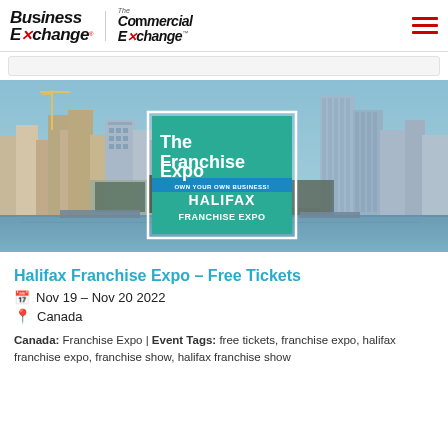Business Exchange | The Commercial Exchange
[Figure (photo): Halifax city skyline waterfront photo with overlaid Franchise Expo promotional card showing 'The Franchise Expo - OWN YOUR OWN BUSINESS! - HALIFAX FRANCHISE EXPO' in teal and blue colors]
Halifax Franchise Expo – Free Tickets
Nov 19 – Nov 20 2022
Canada
Canada: Franchise Expo | Event Tags: free tickets, franchise expo, halifax franchise expo, franchise show, halifax franchise show